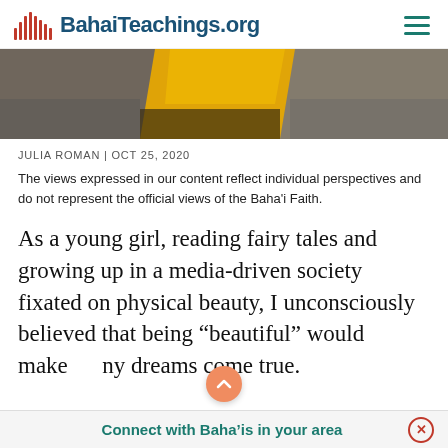BahaiTeachings.org
[Figure (photo): Partial photo showing a yellow fabric/flag with blurred background of people and structures]
JULIA ROMAN | OCT 25, 2020
The views expressed in our content reflect individual perspectives and do not represent the official views of the Baha'i Faith.
As a young girl, reading fairy tales and growing up in a media-driven society fixated on physical beauty, I unconsciously believed that being “beautiful” would make my dreams come true.
Connect with Baha’is in your area